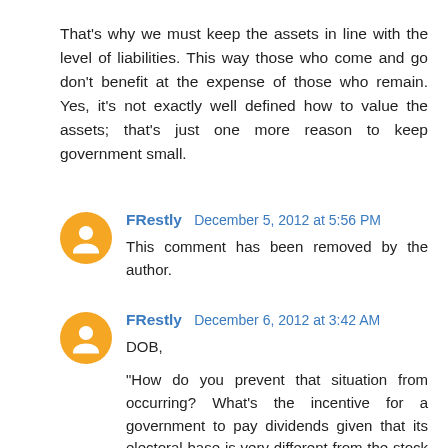That's why we must keep the assets in line with the level of liabilities. This way those who come and go don't benefit at the expense of those who remain. Yes, it's not exactly well defined how to value the assets; that's just one more reason to keep government small.
FRestly December 5, 2012 at 5:56 PM
This comment has been removed by the author.
FRestly December 6, 2012 at 3:42 AM
DOB,

"How do you prevent that situation from occurring? What's the incentive for a government to pay dividends given that its electoral base is very different from the stock holder base?"